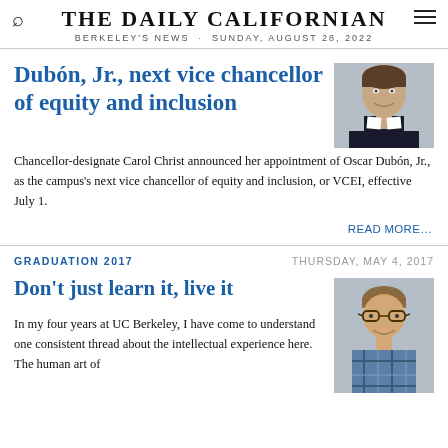THE DAILY CALIFORNIAN — BERKELEY'S NEWS · SUNDAY, AUGUST 28, 2022
Dubón, Jr., next vice chancellor of equity and inclusion
[Figure (photo): Headshot of a man in a dark suit, smiling]
Chancellor-designate Carol Christ announced her appointment of Oscar Dubón, Jr., as the campus's next vice chancellor of equity and inclusion, or VCEI, effective July 1.
READ MORE…
GRADUATION 2017
THURSDAY, MAY 4, 2017
Don't just learn it, live it
[Figure (photo): Headshot of a young man with glasses, wearing a plaid shirt, smiling]
In my four years at UC Berkeley, I have come to understand one consistent thread about the intellectual experience here. The human art of